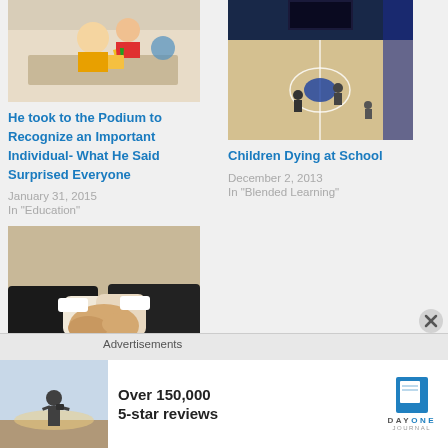[Figure (photo): Children sitting at classroom desks]
He took to the Podium to Recognize an Important Individual- What He Said Surprised Everyone
January 31, 2015
In "Education"
[Figure (photo): Aerial view of basketball court with players]
Children Dying at School
December 2, 2013
In "Blended Learning"
[Figure (photo): Two people shaking hands in business suits]
Advertisements
[Figure (photo): Person standing outdoors with camera]
Over 150,000
5-star reviews
[Figure (logo): Day One Journal logo]